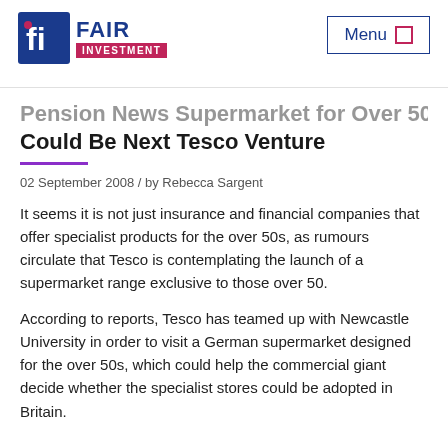Fair Investment — Menu
Supermarket for Over 50s Could Be Next Tesco Venture
02 September 2008 / by Rebecca Sargent
It seems it is not just insurance and financial companies that offer specialist products for the over 50s, as rumours circulate that Tesco is contemplating the launch of a supermarket range exclusive to those over 50.
According to reports, Tesco has teamed up with Newcastle University in order to visit a German supermarket designed for the over 50s, which could help the commercial giant decide whether the specialist stores could be adopted in Britain.